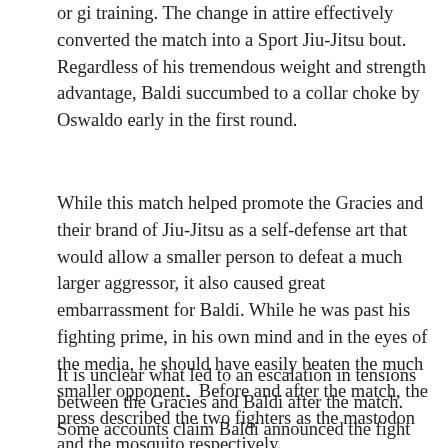or gi training. The change in attire effectively converted the match into a Sport Jiu-Jitsu bout. Regardless of his tremendous weight and strength advantage, Baldi succumbed to a collar choke by Oswaldo early in the first round.
While this match helped promote the Gracies and their brand of Jiu-Jitsu as a self-defense art that would allow a smaller person to defeat a much larger aggressor, it also caused great embarrassment for Baldi. While he was past his fighting prime, in his own mind and in the eyes of the media, he should have easily beaten the much smaller opponent.  Before and after the match, the press described the two fighters as the mastodon and the mosquito respectively.
It is unclear what led to an escalation in tensions between the Gracies and Baldi after the match. Some accounts claim Baldi announced the fight was a